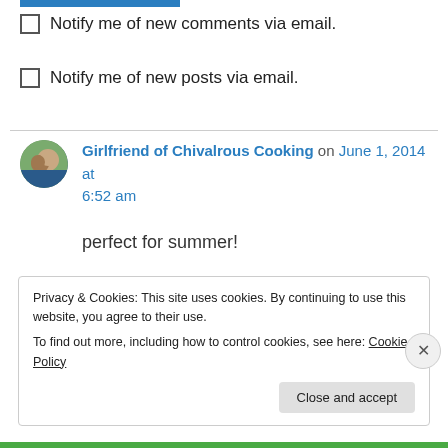Notify me of new comments via email.
Notify me of new posts via email.
Girlfriend of Chivalrous Cooking on June 1, 2014 at 6:52 am
perfect for summer!
↳ Reply
Privacy & Cookies: This site uses cookies. By continuing to use this website, you agree to their use.
To find out more, including how to control cookies, see here: Cookie Policy